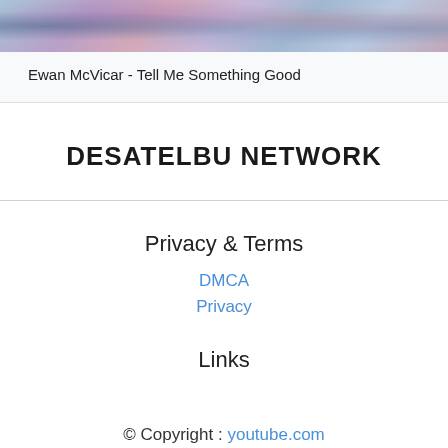[Figure (photo): Colorful abstract image strip with reflective water-like textures in blue, purple, and pink tones at the top of the page]
Ewan McVicar - Tell Me Something Good
DESATELBU NETWORK
Privacy & Terms
DMCA
Privacy
Links
© Copyright : youtube.com